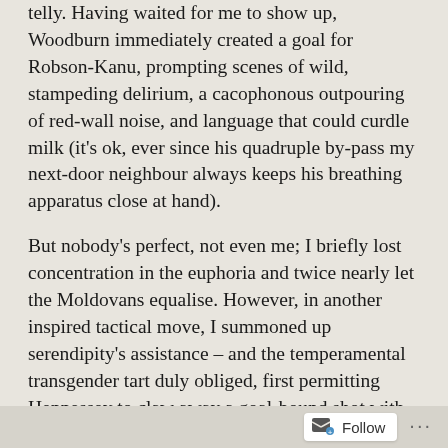telly. Having waited for me to show up, Woodburn immediately created a goal for Robson-Kanu, prompting scenes of wild, stampeding delirium, a cacophonous outpouring of red-wall noise, and language that could curdle milk (it's ok, ever since his quadruple by-pass my next-door neighbour always keeps his breathing apparatus close at hand).

But nobody's perfect, not even me; I briefly lost concentration in the euphoria and twice nearly let the Moldovans equalise. However, in another inspired tactical move, I summoned up serendipity's assistance – and the temperamental transgender tart duly obliged, first permitting Hennessey to claw away a goal-bound shot with his fingernail dirt and then getting the woodwork to swell by a millimetre to repel another cert. Finally, responding to my hysterical demands for a second because Group D might well all come down to goal difference, Ramsey obliged at the death with a mishit (or should that be mis-hit?) that needed a wicked deflection off
Follow